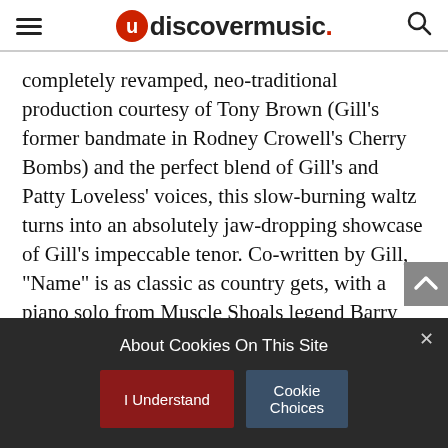udiscovermusic.
completely revamped, neo-traditional production courtesy of Tony Brown (Gill’s former bandmate in Rodney Crowell’s Cherry Bombs) and the perfect blend of Gill’s and Patty Loveless’ voices, this slow-burning waltz turns into an absolutely jaw-dropping showcase of Gill’s impeccable tenor. Co-written by Gill, “Name” is as classic as country gets, with a piano solo from Muscle Shoals legend Barry Beckett and pedal steel from Nashville session stalwart Paul Franklin – but it’s the key change that’ll give you chills every time.
About Cookies On This Site
I Understand
Cookie Choices